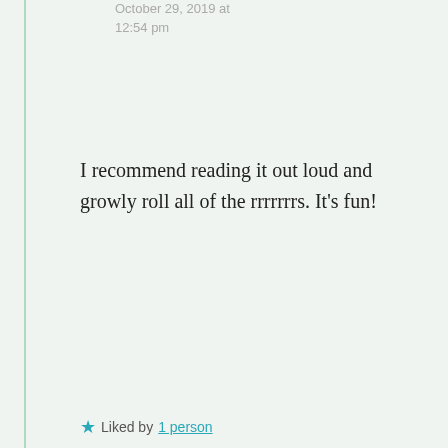October 29, 2019 at 12:54 pm
I recommend reading it out loud and growly roll all of the rrrrrrrs. It's fun!
★ Liked by 1 person
akokunchan
October 31, 2019 at 1:16 pm
I'll do that.